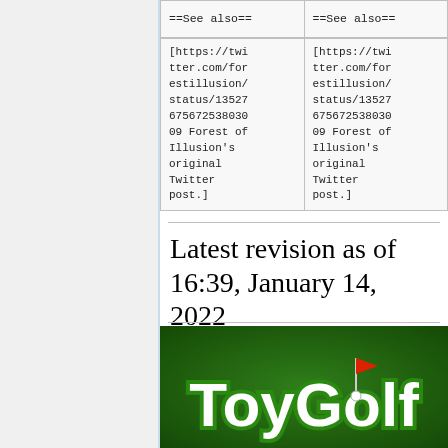==See also==
==See also==
[https://twitter.com/forestillusion/status/1352767567253803009 Forest of Illusion's original Twitter post.]
[https://twitter.com/forestillusion/status/1352767567253803009 Forest of Illusion's original Twitter post.]
Latest revision as of 16:39, January 14, 2022
[Figure (screenshot): ToyGolf logo on green background]